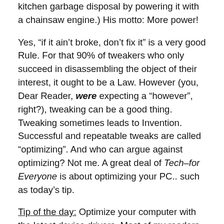kitchen garbage disposal by powering it with a chainsaw engine.) His motto: More power!
Yes, “if it ain’t broke, don’t fix it” is a very good Rule. For that 90% of tweakers who only succeed in disassembling the object of their interest, it ought to be a Law. However (you, Dear Reader, were expecting a “however”, right?), tweaking can be a good thing. Tweaking sometimes leads to Invention. Successful and repeatable tweaks are called “optimizing”. And who can argue against optimizing? Not me. A great deal of Tech–for Everyone is about optimizing your PC.. such as today’s tip.
Tip of the day: Optimize your computer with the latest device drivers. Most of my readers should be aware of the existence of the small programs that allow the software on our machines (primarily the OS) to interact with the